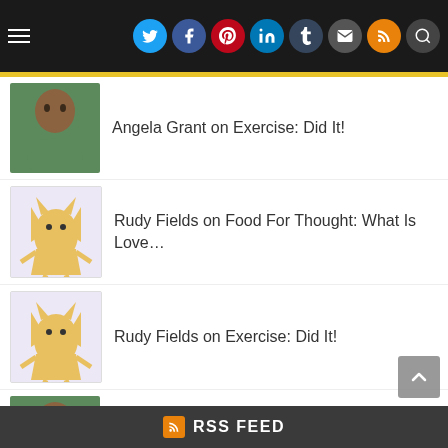Navigation bar with social icons: Twitter, Facebook, Pinterest, LinkedIn, Tumblr, Email, RSS, Search
Angela Grant on Exercise: Did It!
Rudy Fields on Food For Thought: What Is Love…
Rudy Fields on Exercise: Did It!
Angela Grant on Food For Thought: What Is Love…
christcenteredrumina… on Food For Thought: What Is Love…
RSS FEED